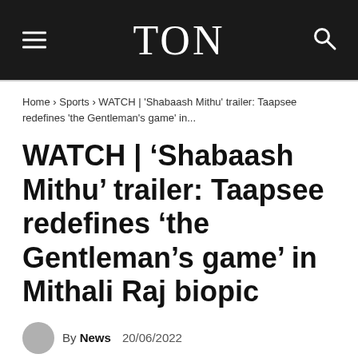TON
Home › Sports › WATCH | 'Shabaash Mithu' trailer: Taapsee redefines 'the Gentleman's game' in...
WATCH | ‘Shabaash Mithu’ trailer: Taapsee redefines ‘the Gentleman’s game’ in Mithali Raj biopic
By News  20/06/2022